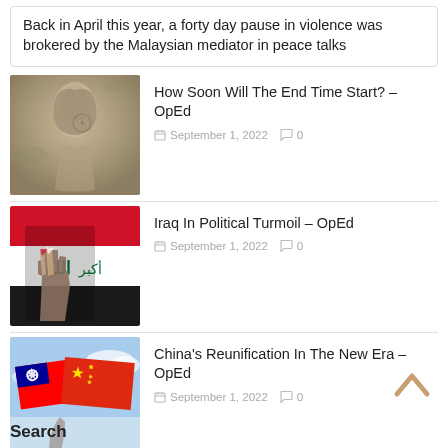Back in April this year, a forty day pause in violence was brokered by the Malaysian mediator in peace talks
[Figure (photo): Stone statue of an angel or female figure looking down, with a clock in background]
How Soon Will The End Time Start? – OpEd
September 1, 2022  0
[Figure (photo): Hand making peace sign painted with Iraq flag colors, red/white/black with Arabic text and green symbol]
Iraq In Political Turmoil – OpEd
September 1, 2022  0
[Figure (photo): Taiwan and China flags against sky background]
China's Reunification In The New Era – OpEd
September 1, 2022  0
Search